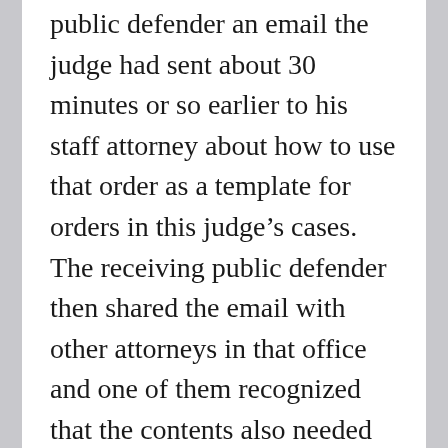public defender an email the judge had sent about 30 minutes or so earlier to his staff attorney about how to use that order as a template for orders in this judge's cases.  The receiving public defender then shared the email with other attorneys in that office and one of them recognized that the contents also needed to be shared with the prosecutors.

That led to the filing of a motion by prosecutors seeking a blanket recusal of the judge based in part on “favoritism” shown to the defense